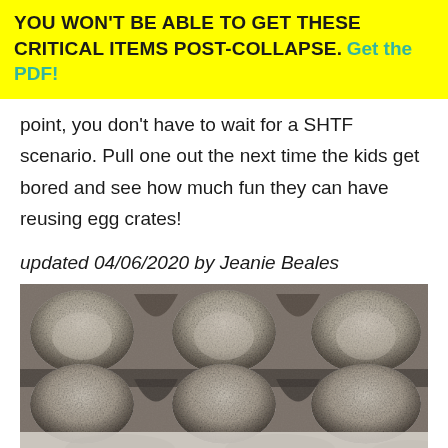YOU WON'T BE ABLE TO GET THESE CRITICAL ITEMS POST-COLLAPSE. Get the PDF!
point, you don't have to wait for a SHTF scenario. Pull one out the next time the kids get bored and see how much fun they can have reusing egg crates!
updated 04/06/2020 by Jeanie Beales
[Figure (photo): Close-up photograph of egg crate carton made of grey cardboard/papier-mache material, showing the bumpy texture of egg cups from above]